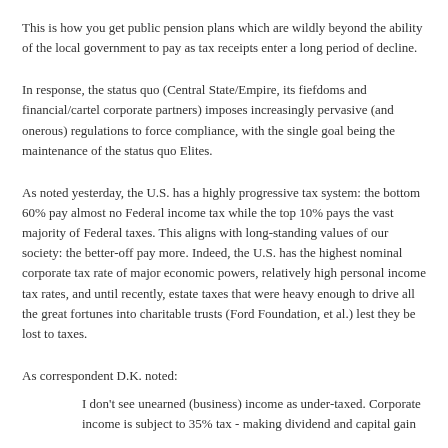This is how you get public pension plans which are wildly beyond the ability of the local government to pay as tax receipts enter a long period of decline.
In response, the status quo (Central State/Empire, its fiefdoms and financial/cartel corporate partners) imposes increasingly pervasive (and onerous) regulations to force compliance, with the single goal being the maintenance of the status quo Elites.
As noted yesterday, the U.S. has a highly progressive tax system: the bottom 60% pay almost no Federal income tax while the top 10% pays the vast majority of Federal taxes. This aligns with long-standing values of our society: the better-off pay more. Indeed, the U.S. has the highest nominal corporate tax rate of major economic powers, relatively high personal income tax rates, and until recently, estate taxes that were heavy enough to drive all the great fortunes into charitable trusts (Ford Foundation, et al.) lest they be lost to taxes.
As correspondent D.K. noted:
I don't see unearned (business) income as under-taxed. Corporate income is subject to 35% tax - making dividend and capital gain